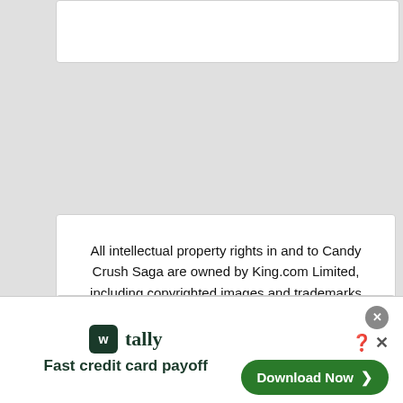[Figure (screenshot): Partially visible white card at top of page]
All intellectual property rights in and to Candy Crush Saga are owned by King.com Limited, including copyrighted images and trademarks from Candy Crush Saga. Omada Digital is not affiliated with King.com Limited in any way.
Privacy Policy
[Figure (screenshot): Advertisement banner for Tally app: 'Fast credit card payoff' with a Download Now button, close button, and help/X icons]